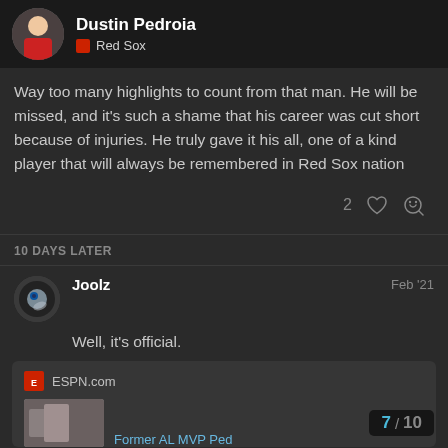Dustin Pedroia — Red Sox
Way too many highlights to count from that man. He will be missed, and it's such a shame that his career was cut short because of injuries. He truly gave it his all, one of a kind player that will always be remembered in Red Sox nation
2 [likes] [link]
10 DAYS LATER
Joolz — Feb '21
Well, it's official.
[Figure (screenshot): ESPN.com embed card showing Former AL MVP Dustin Pedroia article thumbnail]